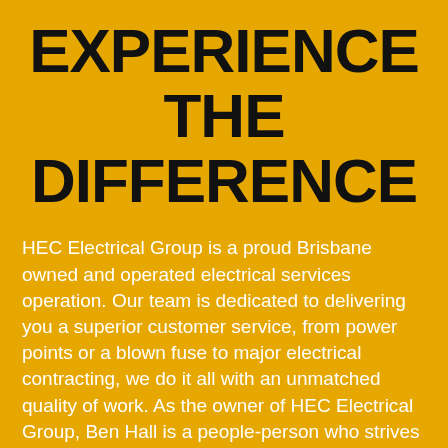EXPERIENCE THE DIFFERENCE
HEC Electrical Group is a proud Brisbane owned and operated electrical services operation. Our team is dedicated to delivering you a superior customer service, from power points or a blown fuse to major electrical contracting, we do it all with an unmatched quality of work. As the owner of HEC Electrical Group, Ben Hall is a people-person who strives to form relationships with our customers. Through communication and reliabilty we ensure you will be happy from your first contact through to job completion.